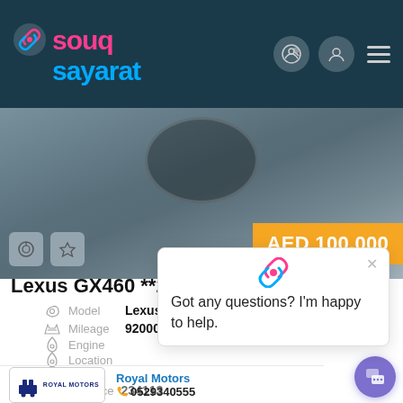souq sayarat
[Figure (screenshot): Car interior dashboard photo in the background of the listing header]
AED 100,000
Lexus GX460 **2014**
Model: Lexus GX-Series
Mileage: 92000 Kms
Location
Specs
Distance: 234113
Got any questions? I'm happy to help.
Royal Motors
0529340555